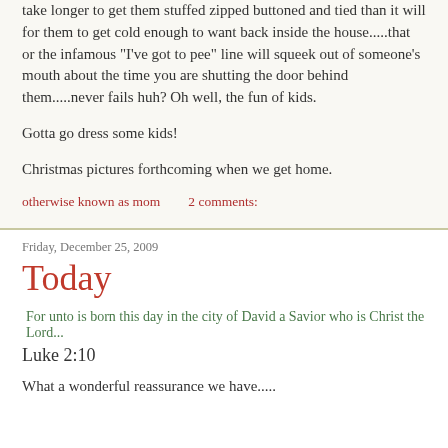take longer to get them stuffed zipped buttoned and tied than it will for them to get cold enough to want back inside the house.....that or the infamous "I've got to pee" line will squeek out of someone's mouth about the time you are shutting the door behind them.....never fails huh?  Oh well, the fun of kids.
Gotta go dress some kids!
Christmas pictures forthcoming when we get home.
otherwise known as mom    2 comments:
Friday, December 25, 2009
Today
For unto is born this day in the city of David a Savior who is Christ the Lord...
Luke 2:10
What a wonderful reassurance we have.....